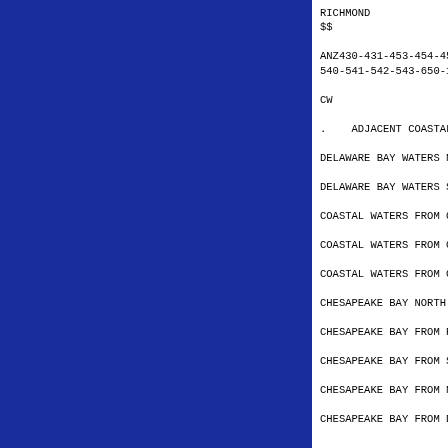RICHMOND
$$
ANZ430-431-453-454-455-530-531-532-533-540-541-542-543-650-162140-
CW
. ADJACENT COASTAL WATERS INCLUDED A
DELAWARE BAY WATERS NORTH OF EAST POINT
DELAWARE BAY WATERS SOUTH OF EAST POINT
COASTAL WATERS FROM GREAT EGG INLET TO
COASTAL WATERS FROM CAPE MAY NJ TO CAP
COASTAL WATERS FROM CAPE HENLOPEN TO F
CHESAPEAKE BAY NORTH OF POOLES ISLAND
CHESAPEAKE BAY FROM POOLES ISLAND TO S
CHESAPEAKE BAY FROM SANDY POINT TO NOR
CHESAPEAKE BAY FROM NORTH BEACH TO DRU
CHESAPEAKE BAY FROM DRUM POINT MD TO S